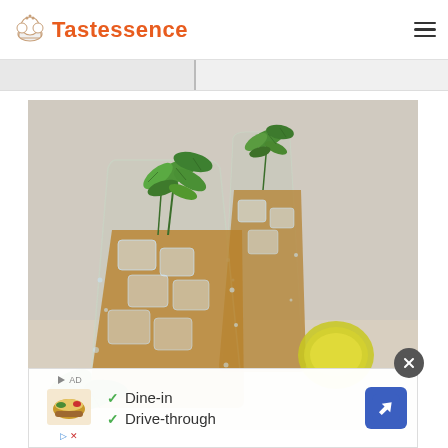Tastessence
[Figure (photo): Two tall glasses of iced tea with fresh mint leaves and lemon slices on ice, with lime in background on a light surface]
[Figure (infographic): Advertisement overlay showing Dine-in and Drive-through checkmarks with food image and navigation arrow icon, with close button]